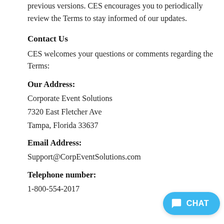previous versions. CES encourages you to periodically review the Terms to stay informed of our updates.
Contact Us
CES welcomes your questions or comments regarding the Terms:
Our Address:
Corporate Event Solutions
7320 East Fletcher Ave
Tampa, Florida 33637
Email Address:
Support@CorpEventSolutions.com
Telephone number:
1-800-554-2017